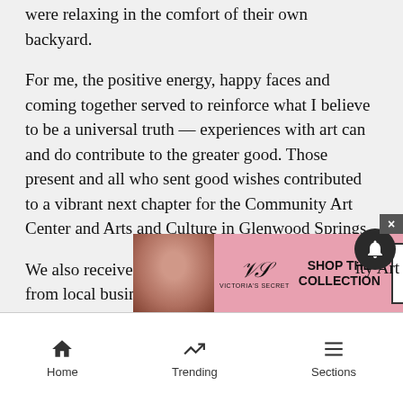were relaxing in the comfort of their own backyard.
For me, the positive energy, happy faces and coming together served to reinforce what I believe to be a universal truth — experiences with art can and do contribute to the greater good. Those present and all who sent good wishes contributed to a vibrant next chapter for the Community Art Center and Arts and Culture in Glenwood Springs.
We also received a generous amount of support from local business owners and community members. The list can be found on the Glenwood Springs Community Art Center Facebook page. Special thanks to these folks who helped make the day a success.
I am p[artial text] ity Art [partial text]
[Figure (screenshot): Victoria's Secret advertisement banner with model, VS logo, 'SHOP THE COLLECTION' text and 'SHOP NOW' button]
Home   Trending   Sections